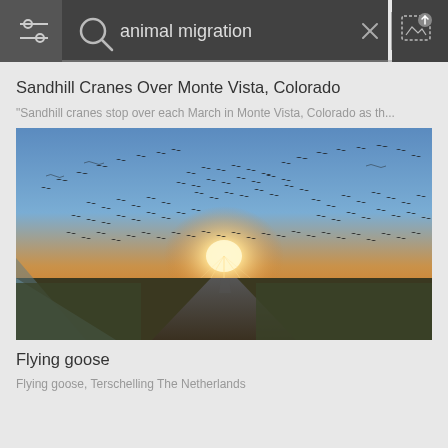[Figure (screenshot): Search bar UI with filter icon on left dark panel, magnifying glass icon, search text 'animal migration', X close button, and image upload icon on right]
Sandhill Cranes Over Monte Vista, Colorado
"Sandhill cranes stop over each March in Monte Vista, Colorado as th...
[Figure (photo): Large flock of flying geese/birds silhouetted against a dramatic sunset sky over a straight road with water on the left and flat land on the right, Terschelling The Netherlands]
Flying goose
Flying goose, Terschelling The Netherlands